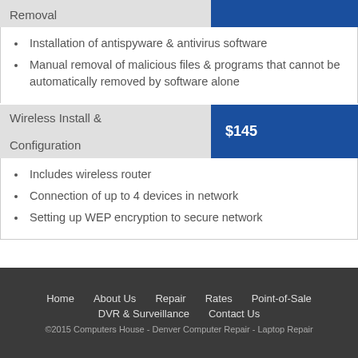Removal
Installation of antispyware & antivirus software
Manual removal of malicious files & programs that cannot be automatically removed by software alone
Wireless Install & Configuration | $145
Includes wireless router
Connection of up to 4 devices in network
Setting up WEP encryption to secure network
Home   About Us   Repair   Rates   Point-of-Sale   DVR & Surveillance   Contact Us
©2015 Computers House - Denver Computer Repair - Laptop Repair